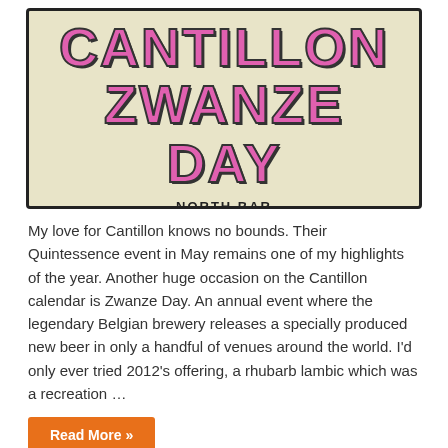[Figure (illustration): Illustrated poster for Cantillon Zwanze Day at North Bar, Oct 1st 2016. Large pink bubbly text reads 'CANTILLON ZWANZE DAY' on a cream background. Decorative pink fish illustrations flank the bottom text 'NORTH BAR OCT 1st 2016'.]
My love for Cantillon knows no bounds. Their Quintessence event in May remains one of my highlights of the year. Another huge occasion on the Cantillon calendar is Zwanze Day. An annual event where the legendary Belgian brewery releases a specially produced new beer in only a handful of venues around the world. I'd only ever tried 2012's offering, a rhubarb lambic which was a recreation …
Read More »
Leeds International Beer Festival 2016
October 20, 2016  0